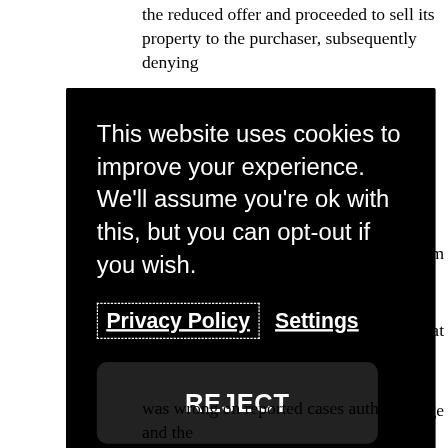the reduced offer and proceeded to sell its property to the purchaser, subsequently denying
[Figure (screenshot): Cookie consent overlay dialog on a dark background. Text reads: 'This website uses cookies to improve your experience. We'll assume you're ok with this, but you can opt-out if you wish.' Contains links for 'Privacy Policy' (with dashed border) and 'Settings', and two buttons: 'REJECT' (dark) and 'ACCEPT' (white).]
was wrong on reported cases authorities and the